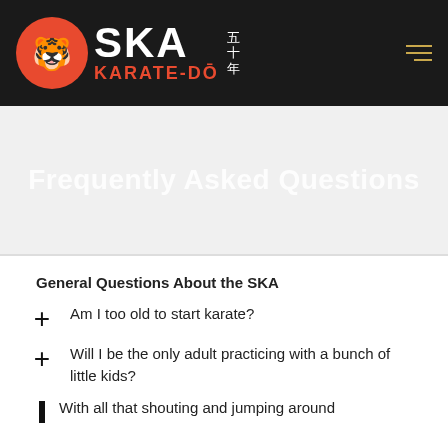[Figure (logo): SKA Karate-Do logo with red circle tiger emblem on dark header background]
Frequently Asked Questions
General Questions About the SKA
Am I too old to start karate?
Will I be the only adult practicing with a bunch of little kids?
With all that shouting and jumping around...